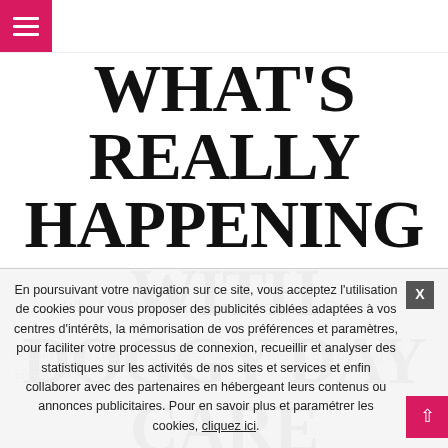Navigation bar with hamburger menu
WHAT'S REALLY HAPPENING WITH DOGGY DAY CARE
Who Else Wants To Learn About Doggy Daycare?
Accueil » Non classé » Get Better Dog Care Results By Following 5 Simple Steps
NON CLASSÉ
En poursuivant votre navigation sur ce site, vous acceptez l'utilisation de cookies pour vous proposer des publicités ciblées adaptées à vos centres d'intérêts, la mémorisation de vos préférences et paramètres, pour faciliter votre processus de connexion, recueillir et analyser des statistiques sur les activités de nos sites et services et enfin collaborer avec des partenaires en hébergeant leurs contenus ou annonces publicitaires. Pour en savoir plus et paramétrer les cookies, cliquez ici.